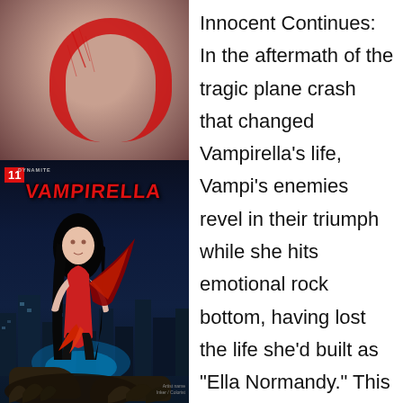[Figure (photo): Photo of a person in a red swimsuit/costume from behind, with scratch marks visible, holding a wine glass]
[Figure (illustration): Vampirella comic book cover #11, showing Vampirella character in iconic red costume with wings, crouching over a monster creature, with city skyline in background. Title 'VAMPIRELLA' in red logo at top. Published by Dynamite.]
Innocent Continues: In the aftermath of the tragic plane crash that changed Vampirella's life, Vampi's enemies revel in their triumph while she hits emotional rock bottom, having lost the life she'd built as “Ella Normandy.” This leads to Vampi seeking help from two unexpected